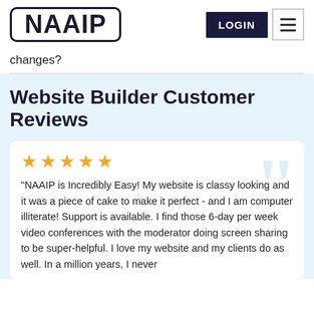NAAIP | LOGIN
changes?
Website Builder Customer Reviews
"NAAIP is Incredibly Easy! My website is classy looking and it was a piece of cake to make it perfect - and I am computer illiterate! Support is available. I find those 6-day per week video conferences with the moderator doing screen sharing to be super-helpful. I love my website and my clients do as well. In a million years, I never